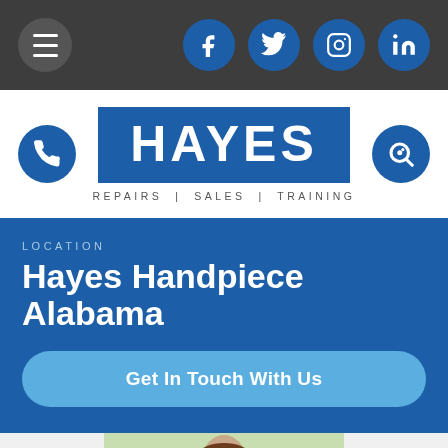Navigation bar with hamburger menu and social icons: Facebook, Twitter, Instagram, LinkedIn
[Figure (logo): Hayes Handpiece logo: blue rectangle with HAYES in white bold text, tagline REPAIRS | SALES | TRAINING below in dark text. Phone icon circle on left, search icon circle on right.]
LOCATION
Hayes Handpiece Alabama
Get In Touch With Us
[Figure (photo): Partial photo of a smiling woman with long brown hair, outdoors with green foliage in background]